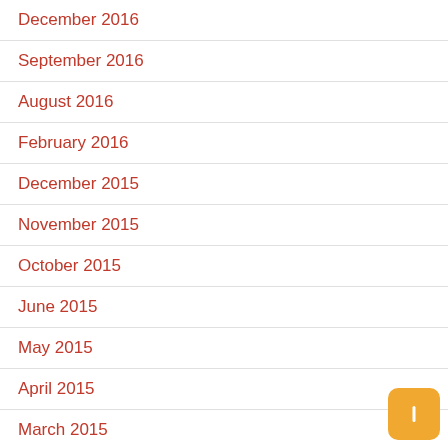December 2016
September 2016
August 2016
February 2016
December 2015
November 2015
October 2015
June 2015
May 2015
April 2015
March 2015
February 2015
December 2014
October 2014